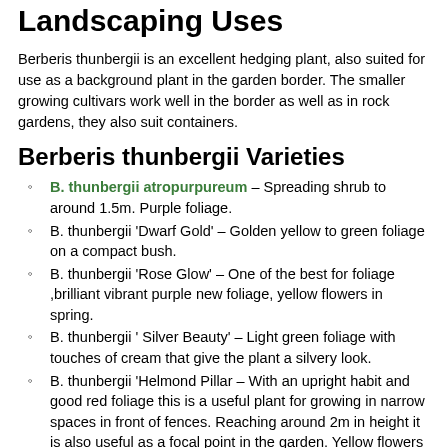Landscaping Uses
Berberis thunbergii is an excellent hedging plant, also suited for use as a background plant in the garden border. The smaller growing cultivars work well in the border as well as in rock gardens, they also suit containers.
Berberis thunbergii Varieties
B. thunbergii atropurpureum – Spreading shrub to around 1.5m. Purple foliage.
B. thunbergii 'Dwarf Gold' – Golden yellow to green foliage on a compact bush.
B. thunbergii 'Rose Glow' – One of the best for foliage ,brilliant vibrant purple new foliage, yellow flowers in spring.
B. thunbergii ' Silver Beauty' – Light green foliage with touches of cream that give the plant a silvery look.
B. thunbergii 'Helmond Pillar – With an upright habit and good red foliage this is a useful plant for growing in narrow spaces in front of fences. Reaching around 2m in height it is also useful as a focal point in the garden. Yellow flowers in spring.